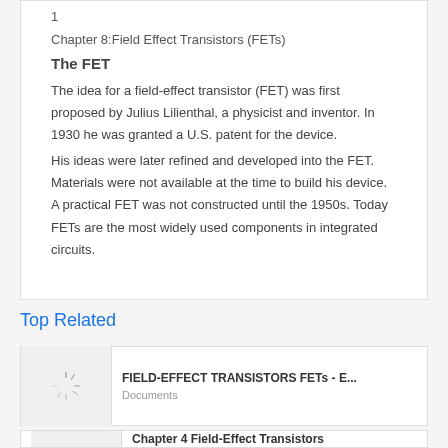1
Chapter 8:Field Effect Transistors (FETs)
The FET
The idea for a field-effect transistor (FET) was first proposed by Julius Lilienthal, a physicist and inventor. In 1930 he was granted a U.S. patent for the device.
His ideas were later refined and developed into the FET. Materials were not available at the time to build his device. A practical FET was not constructed until the 1950s. Today FETs are the most widely used components in integrated circuits.
Top Related
FIELD-EFFECT TRANSISTORS FETs - E...
Documents
Chapter 4 Field-Effect Transistors